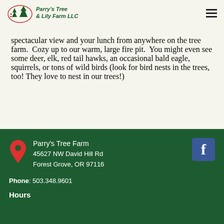Parry's Tree & Lily Farm LLC
spectacular view and your lunch from anywhere on the tree farm.  Cozy up to our warm, large fire pit.  You might even see some deer, elk, red tail hawks, an occasional bald eagle, squirrels, or tons of wild birds (look for bird nests in the trees, too! They love to nest in our trees!)
Parry's Tree Farm
45627 NW David Hill Rd
Forest Grove, OR 97116
Phone: 503.348.9601
Hours